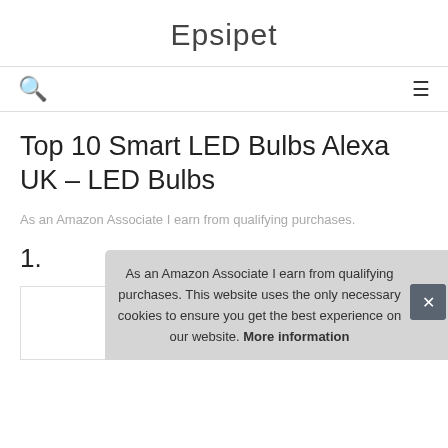Epsipet
Top 10 Smart LED Bulbs Alexa UK – LED Bulbs
As an Amazon Associate I earn from qualifying purchases.
1.
As an Amazon Associate I earn from qualifying purchases. This website uses the only necessary cookies to ensure you get the best experience on our website. More information